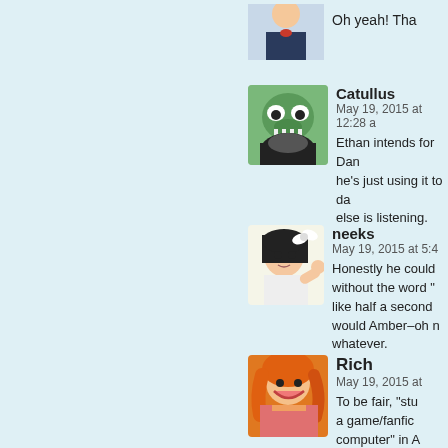Oh yeah! Tha…
Catullus
May 19, 2015 at 12:28 a…
Ethan intends for Dan… he's just using it to da… else is listening.
neeks
May 19, 2015 at 5:4…
Honestly he could… without the word "… like half a second… would Amber–oh n… whatever.
Rich
May 19, 2015 at…
To be fair, "stu… a game/fanfic… computer" in A… what kind of s…